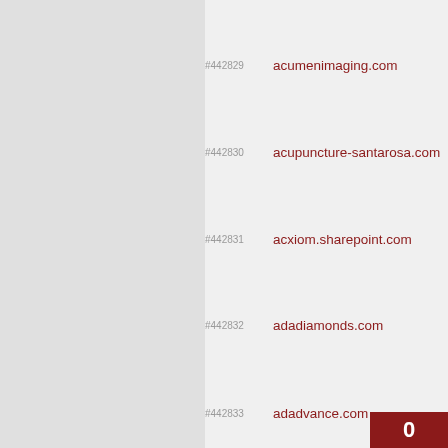#442829 acumenimaging.com
#442830 acupuncture-santarosa.com
#442831 acxiom.sharepoint.com
#442832 adadiamonds.com
#442833 adadvance.com
#442834 adairhomes.com
#442835 adaline-art.tumblr.com
#442836 adamerhart.com
#442837 adammendler.com
#442838 adammobley.com
#442839 adamriemer.me
#442840 adamscentral.us